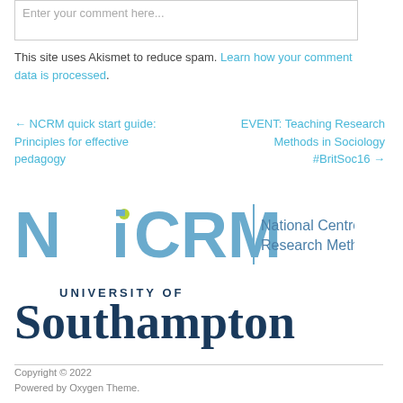Enter your comment here...
This site uses Akismet to reduce spam. Learn how your comment data is processed.
← NCRM quick start guide: Principles for effective pedagogy
EVENT: Teaching Research Methods in Sociology #BritSoc16 →
[Figure (logo): NCRM National Centre for Research Methods logo in blue and grey tones]
[Figure (logo): University of Southampton logo in dark navy blue]
Copyright © 2022
Powered by Oxygen Theme.